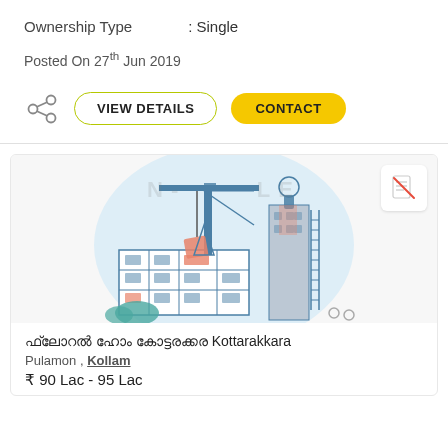Ownership Type : Single
Posted On 27th Jun 2019
VIEW DETAILS | CONTACT
[Figure (illustration): Real estate listing card with a construction scene illustration showing a crane and building under construction on a light blue circular background. Watermark text 'N- -LE' visible. Small no-document icon badge in top right corner.]
ഫ്ലോറൽ ഹോം കോട്ടരക്കര Kottarakkara
Pulamon , Kollam
₹ 90 Lac - 95 Lac